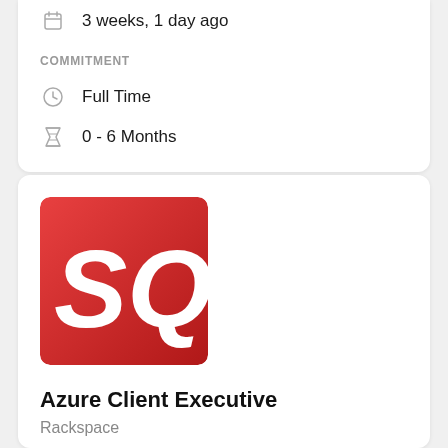3 weeks, 1 day ago
COMMITMENT
Full Time
0 - 6 Months
[Figure (logo): SQ logo — white italic letters 'SQ' on a red-to-dark-red gradient square background]
Azure Client Executive
Rackspace